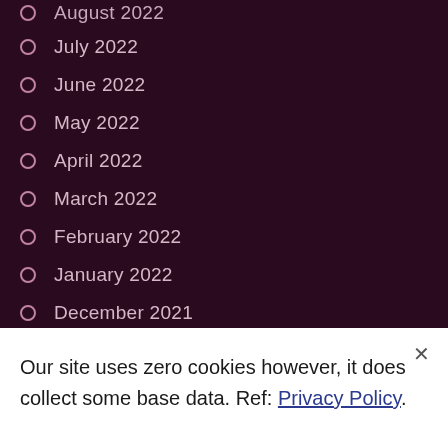August 2022
July 2022
June 2022
May 2022
April 2022
March 2022
February 2022
January 2022
December 2021
November 2021
October 2021
Our site uses zero cookies however, it does collect some base data. Ref: Privacy Policy.